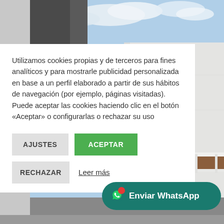[Figure (photo): Background photo of a building with white walls, blue sky with clouds, and a brown ledge with white railing/fence at the bottom right. Dark building corner at top left.]
Utilizamos cookies propias y de terceros para fines analíticos y para mostrarle publicidad personalizada en base a un perfil elaborado a partir de sus hábitos de navegación (por ejemplo, páginas visitadas). Puede aceptar las cookies haciendo clic en el botón «Aceptar» o configurarlas o rechazar su uso
AJUSTES
ACEPTAR
RECHAZAR
Leer más
[Figure (other): WhatsApp button with icon and text 'Enviar WhatsApp' on dark teal rounded background with red notification dot]